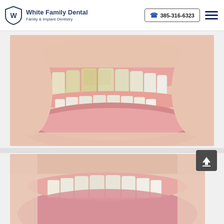White Family Dental — Family & Implant Dentistry | 385-316-6323
[Figure (photo): Close-up photo of a person smiling showing upper and lower teeth with slight yellowing/staining on the upper front teeth]
[Figure (photo): Close-up photo of lower portion of a face showing teeth, partially visible, before dental treatment]